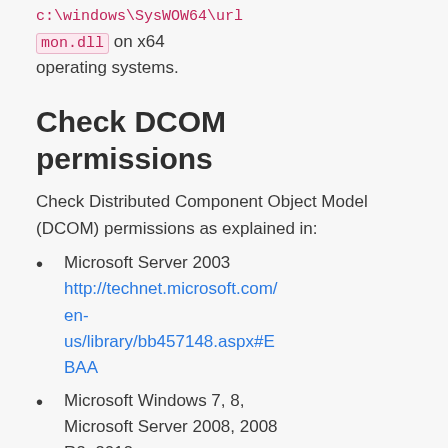c:\windows\SysWOW64\urlmon.dll on x64 operating systems.
Check DCOM permissions
Check Distributed Component Object Model (DCOM) permissions as explained in:
Microsoft Server 2003 http://technet.microsoft.com/en-us/library/bb457148.aspx#EBAA
Microsoft Windows 7, 8, Microsoft Server 2008, 2008 R2, 2012